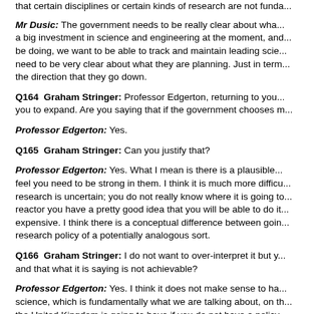that certain disciplines or certain kinds of research are not funda...
Mr Dusic: The government needs to be really clear about what... a big investment in science and engineering at the moment, and... be doing, we want to be able to track and maintain leading scie... need to be very clear about what they are planning. Just in term... the direction that they go down.
Q164 Graham Stringer: Professor Edgerton, returning to you... you to expand. Are you saying that if the government chooses m...
Professor Edgerton: Yes.
Q165 Graham Stringer: Can you justify that?
Professor Edgerton: Yes. What I mean is there is a plausible... feel you need to be strong in them. I think it is much more difficu... research is uncertain; you do not really know where it is going to... reactor you have a pretty good idea that you will be able to do it... expensive. I think there is a conceptual difference between goin... research policy of a potentially analogous sort.
Q166 Graham Stringer: I do not want to over-interpret it but y... and that what it is saying is not achievable?
Professor Edgerton: Yes. I think it does not make sense to ha... science, which is fundamentally what we are talking about, on th... the United Kingdom is going to have if you do not have a policy ... make sense.
Q167 Graham Stringer: So if one could take what I hope wo...